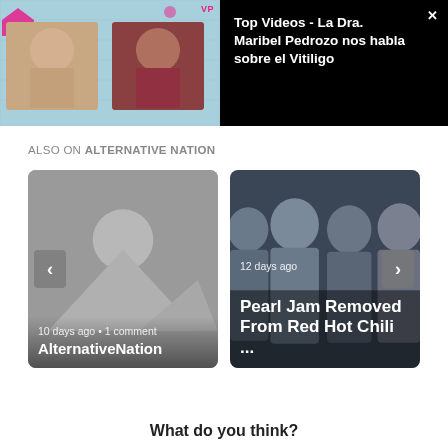[Figure (screenshot): Video popup thumbnail showing two women in a video call, with VP badge top right]
Top Videos - La Dra. Maribel Pedrozo nos habla sobre el Vitiligo
ALSO ON ALTERNATIVE NATION
[Figure (screenshot): Left card: placeholder image (grey with mountain/person silhouette icons), '10 days ago • 1 comment', title 'AlternativeNation']
[Figure (photo): Right card: Pearl Jam band photo (four men in dark clothing), '12 days ago', title 'Pearl Jam Removed From Red Hot Chili ...']
What do you think?